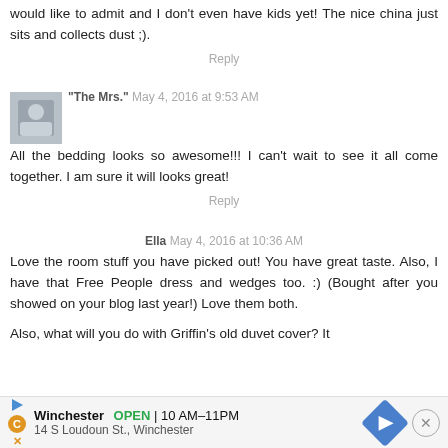would like to admit and I don't even have kids yet! The nice china just sits and collects dust ;).
Reply
"The Mrs." May 4, 2016 at 9:53 AM
All the bedding looks so awesome!!! I can't wait to see it all come together. I am sure it will looks great!
Reply
Ella May 4, 2016 at 10:36 AM
Love the room stuff you have picked out! You have great taste. Also, I have that Free People dress and wedges too. :) (Bought after you showed on your blog last year!) Love them both.

Also, what will you do with Griffin's old duvet cover? It
[Figure (infographic): Advertisement banner for Winchester showing business hours 10AM-11PM and address 14 S Loudoun St., Winchester with navigation arrow icon and close button]